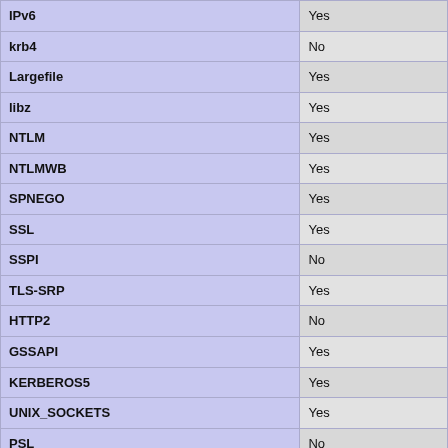| Feature | Value |
| --- | --- |
| IPv6 | Yes |
| krb4 | No |
| Largefile | Yes |
| libz | Yes |
| NTLM | Yes |
| NTLMWB | Yes |
| SPNEGO | Yes |
| SSL | Yes |
| SSPI | No |
| TLS-SRP | Yes |
| HTTP2 | No |
| GSSAPI | Yes |
| KERBEROS5 | Yes |
| UNIX_SOCKETS | Yes |
| PSL | No |
| Protocols | dict, file, ftp, ftps, gophe... telnet, tftp |
| Host | x86_64-pc-linux-gnu |
| SSL Version | OpenSSL/1.0.2g |
| ZLib Version | 1.2.8 |